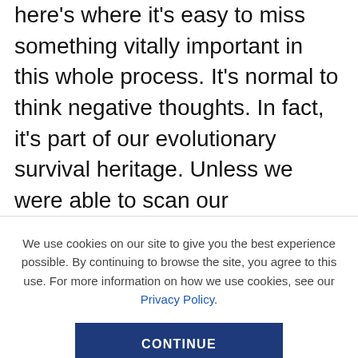here's where it's easy to miss something vitally important in this whole process. It's normal to think negative thoughts. In fact, it's part of our evolutionary survival heritage. Unless we were able to scan our environment and pick out potential problems (usually large furry creatures sniffing us out for lunch), then our genes would not have survived and thrived. Walking along whistling sweet nothings and thinking positive thoughts was the quickest, most surefire way to end up as a Lion bar.
We use cookies on our site to give you the best experience possible. By continuing to browse the site, you agree to this use. For more information on how we use cookies, see our Privacy Policy.
CONTINUE